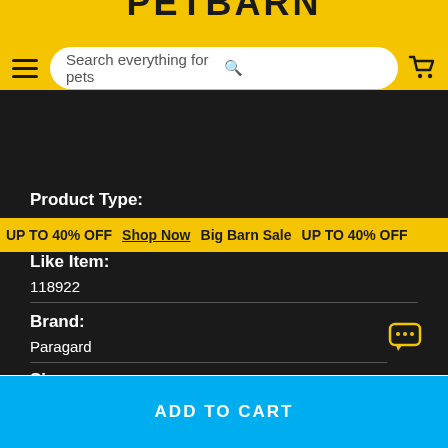PETBARN
Search everything for pets
Product Type:
Inventory
UP TO 40% OFF  Shop Now  Big Barn Sale  UP TO 40% OFF
Like Item:
118922
Brand:
Paragard
Size:
ADD TO CART